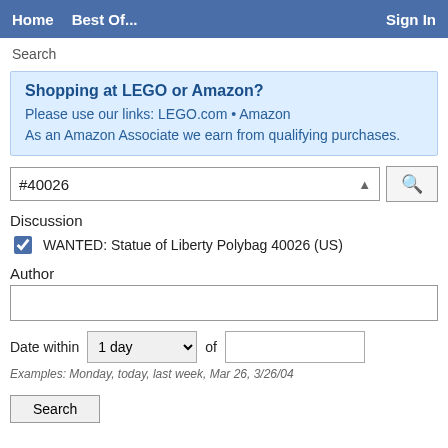Home  Best Of...  Sign In
Search
Shopping at LEGO or Amazon?
Please use our links: LEGO.com • Amazon
As an Amazon Associate we earn from qualifying purchases.
#40026
Discussion
WANTED: Statue of Liberty Polybag 40026 (US)
Author
Date within  1 day  of
Examples: Monday, today, last week, Mar 26, 3/26/04
Search